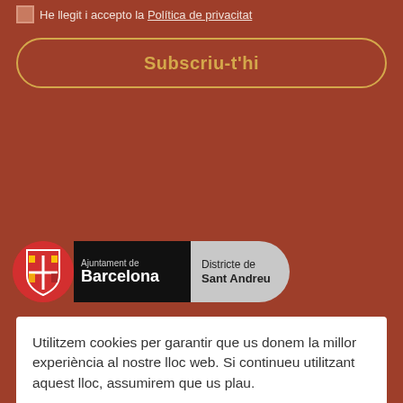He llegit i accepto la Política de privacitat
Subscriu-t'hi
[Figure (logo): Ajuntament de Barcelona - Districte de Sant Andreu logo with red shield emblem]
Utilitzem cookies per garantir que us donem la millor experiència al nostre lloc web. Si continueu utilitzant aquest lloc, assumirem que us plau.
Rebutjar
Acceptar